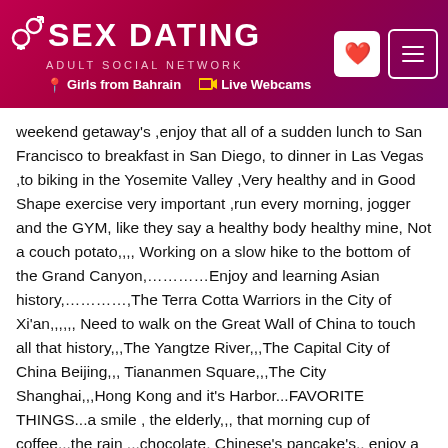SEX DATING ADULT SOCIAL NETWORK — Girls from Bahrain | Live Webcams
weekend getaway's ,enjoy that all of a sudden lunch to San Francisco to breakfast in San Diego, to dinner in Las Vegas ,to biking in the Yosemite Valley ,Very healthy and in Good Shape exercise very important ,run every morning, jogger and the GYM, like they say a healthy body healthy mine, Not a couch potato,,,, Working on a slow hike to the bottom of the Grand Canyon,…………Enjoy and learning Asian history,…………,The Terra Cotta Warriors in the City of Xi'an,,,,,, Need to walk on the Great Wall of China to touch all that history,,,The Yangtze River,,,The Capital City of China Beijing,,, Tiananmen Square,,,The City Shanghai,,,Hong Kong and it's Harbor...FAVORITE THINGS...a smile , the elderly,,, that morning cup of coffee,,,the rain ,,,chocolate, Chinese's pancake's,, enjoy a garden,,,, fresh flower's, exotic fruits,,,Disneyland ,a wood fire , little pet's,,, walks on the beach ,,,weekend getaway,s ,,, people watching,,, classical-most music,,,dancing,,The theatre , ,Christmas Season